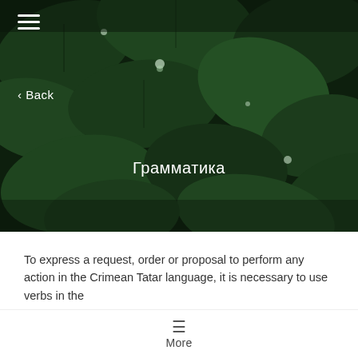[Figure (photo): Dark green leaves with water droplets — hero background image]
≡
‹ Back
Грамматика
To express a request, order or proposal to perform any action in the Crimean Tatar language, it is necessary to use verbs in the
.
The peculiarity of the imperative mood in the Crimean Tatar language is that for the imperative mood we may use all persons, while, for
≡  More